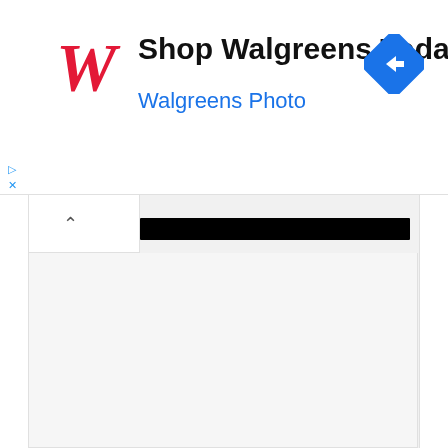[Figure (screenshot): Walgreens advertisement banner with red cursive W logo, text 'Shop Walgreens Today' in black bold and 'Walgreens Photo' in blue, with a blue diamond navigation/directions icon on the right. Below it is a browser UI with a chevron/collapse button and a black redacted bar. The lower portion shows a mostly blank light gray document/content area.]